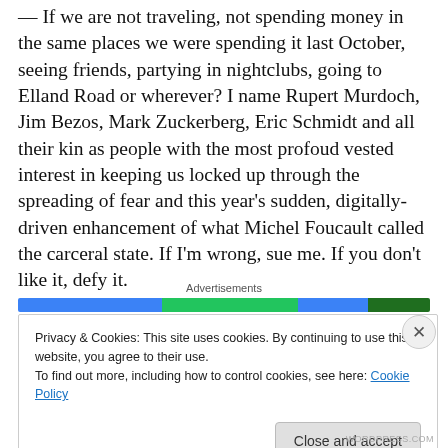— If we are not traveling, not spending money in the same places we were spending it last October, seeing friends, partying in nightclubs, going to Elland Road or wherever? I name Rupert Murdoch, Jim Bezos, Mark Zuckerberg, Eric Schmidt and all their kin as people with the most profoud vested interest in keeping us locked up through the spreading of fear and this year's sudden, digitally-driven enhancement of what Michel Foucault called the carceral state. If I'm wrong, sue me. If you don't like it, defy it.
Advertisements
Privacy & Cookies: This site uses cookies. By continuing to use this website, you agree to their use.
To find out more, including how to control cookies, see here: Cookie Policy
Close and accept